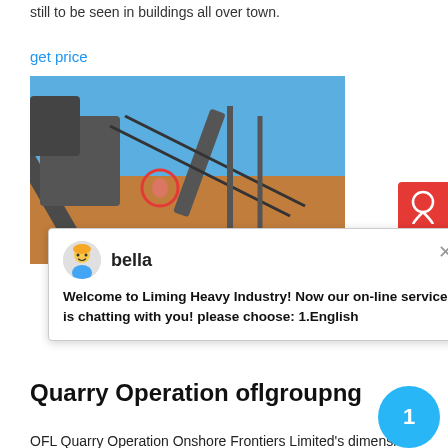still to be seen in buildings all over town.
get price
[Figure (photo): Industrial quarry machinery with conveyor belts and crushing equipment under a clear blue sky, with a red circle marking on one worker/component.]
bella
Welcome to Liming Heavy Industry! Now our on-line service is chatting with you! please choose: 1.English
Quarry Operation oflgroupng
OFL Quarry Operation Onshore Frontiers Limited's dimension stone business is a young decorative natural stone company with its head office in Abuja and a factory complex in Lokoja, Kogi State. The company has in its fold exquisite dimension stone products with the source material developed from